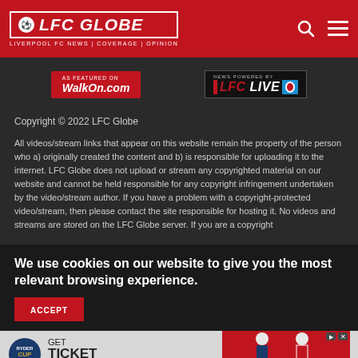LFC GLOBE — LIVERPOOL FC NEWS | COVERAGE | OPINION
[Figure (logo): AS FEATURED ON WalkOn.com badge (red background)]
[Figure (logo): NEWS POWERED BY LFC LIVE badge]
Copyright © 2022 LFC Globe
All videos/stream links that appear on this website remain the property of the person who a) originally created the content and b) is responsible for uploading it to the internet. LFC Globe does not upload or stream any copyrighted material on our website and cannot be held responsible for any copyright infringement undertaken by the video/stream author. If you have a problem with a copyright-protected video/stream, then please contact the site responsible for hosting it. No videos and streams are stored on the LFC Globe server. If you are a copyright
We use cookies on our website to give you the most relevant browsing experience.
[Figure (screenshot): Advertisement banner: Ryder Cup — GET TICKET UPDATES with golfer photos]